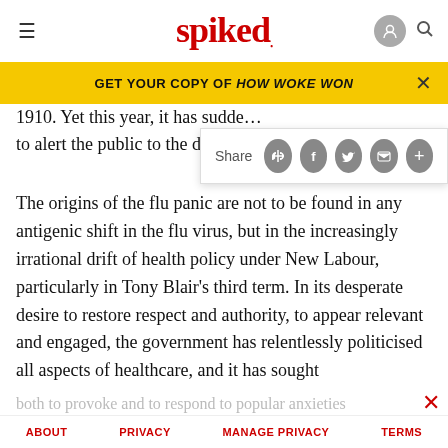spiked
GET YOUR COPY OF HOW WOKE WON
1910. Yet this year, it has sudde... to alert the public to the dange...
Share
The origins of the flu panic are not to be found in any antigenic shift in the flu virus, but in the increasingly irrational drift of health policy under New Labour, particularly in Tony Blair's third term. In its desperate desire to restore respect and authority, to appear relevant and engaged, the government has relentlessly politicised all aspects of healthcare, and it has sought
both to provoke and to respond to popular anxieties
ABOUT   PRIVACY   MANAGE PRIVACY   TERMS